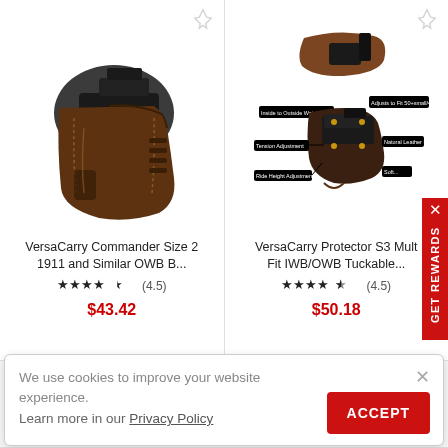[Figure (photo): VersaCarry Commander Size 2 1911 OWB holster product image - brown leather holster with black gun]
VersaCarry Commander Size 2 1911 and Similar OWB B...
★★★★½ (4.5) $43.42
[Figure (photo): VersaCarry Protector S3 Multi Fit IWB/OWB Tuckable holster product image with labeled diagram]
VersaCarry Protector S3 Multi Fit IWB/OWB Tuckable...
★★★★½ (4.5) $50.18
We use cookies to improve your website experience.
Learn more in our Privacy Policy
[Figure (photo): Bottom strip showing partial product images]